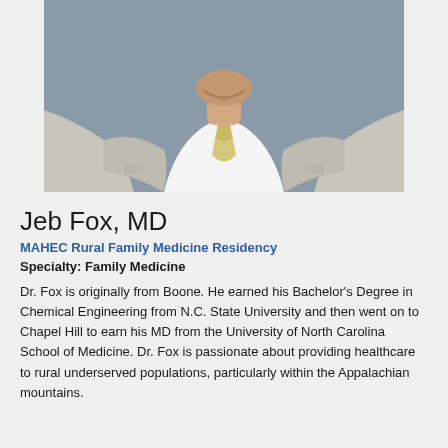[Figure (photo): Professional headshot of a man in a light gray plaid suit jacket and patterned tie, photo cropped at chest level showing neck/chin area]
Jeb Fox, MD
MAHEC Rural Family Medicine Residency
Specialty: Family Medicine
Dr. Fox is originally from Boone. He earned his Bachelor's Degree in Chemical Engineering from N.C. State University and then went on to Chapel Hill to earn his MD from the University of North Carolina School of Medicine. Dr. Fox is passionate about providing healthcare to rural underserved populations, particularly within the Appalachian mountains.